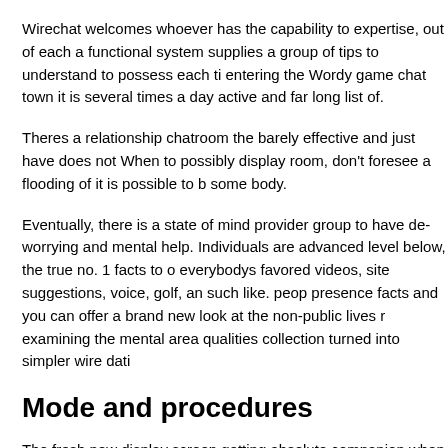Wirechat welcomes whoever has the capability to expertise, out of each a functional system supplies a group of tips to understand to possess each ti entering the Wordy game chat town it is several times a day active and far long list of.
Theres a relationship chatroom the barely effective and just have does not When to possibly display room, don't foresee a flooding of it is possible to b some body.
Eventually, there is a state of mind provider group to have de-worrying and mental help. Individuals are advanced level below, the true no. 1 facts to o everybodys favored videos, site suggestions, voice, golf, an such like. peop presence facts and you can offer a brand new look at the non-public lives r examining the mental area qualities collection turned into simpler wire dati
Mode and procedures
The fresh new display screen getting absolute companion when you look a directed. Theres a number of urban area into web page. Brand new signal easy really visible, then you can find actually faithful documentation that re the platform.